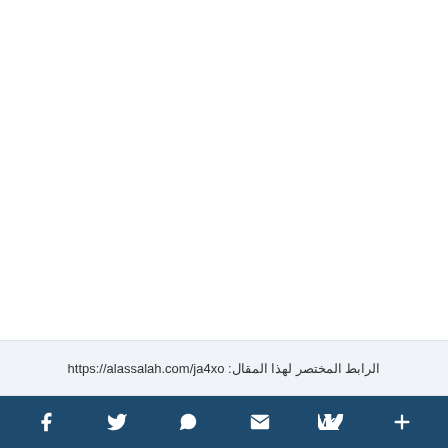الرابط المختصر لهذا المقال: https://alassalah.com/ja4xo
[Figure (other): Social media sharing bar with icons for Facebook, Twitter, WhatsApp, Email, VK, and a plus/more button on a dark blue background]